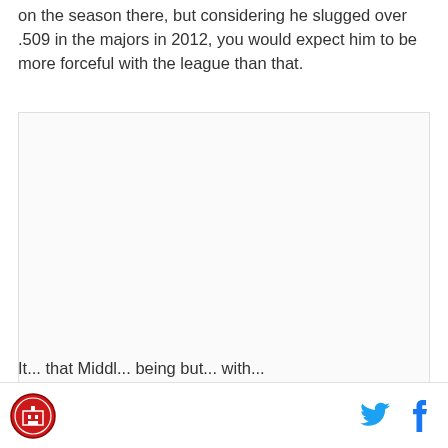on the season there, but considering he slugged over .509 in the majors in 2012, you would expect him to be more forceful with the league than that.
[Figure (other): Large white/blank image placeholder area]
It... that Middl... being but... with...
Logo | Twitter | Facebook